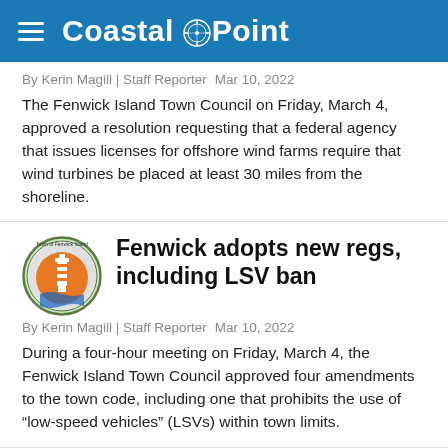Coastal Point
By Kerin Magill | Staff Reporter  Mar 10, 2022
The Fenwick Island Town Council on Friday, March 4, approved a resolution requesting that a federal agency that issues licenses for offshore wind farms require that wind turbines be placed at least 30 miles from the shoreline.
Fenwick adopts new regs, including LSV ban
By Kerin Magill | Staff Reporter  Mar 10, 2022
During a four-hour meeting on Friday, March 4, the Fenwick Island Town Council approved four amendments to the town code, including one that prohibits the use of “low-speed vehicles” (LSVs) within town limits.
Fenwick Island planners discuss comp